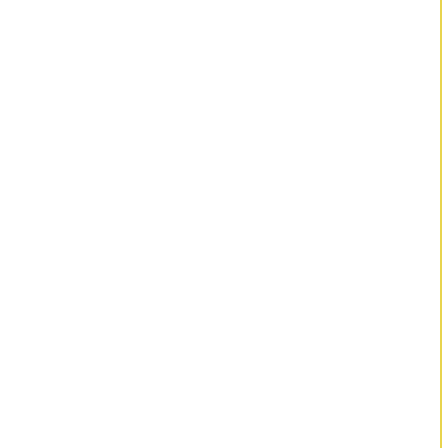Call for Executive Suites
Chicago Executive Su... | Type of offices: Execu... | Cabot Drive, Lisle, Illinois 60532 | Admin support | Flexible terms | Lift/elevators | Chicago Executive Suite...
Office Space Wheato... | Type of offices: Execu... | South Naperville Road, Suite 100, Wheaton, Illinois 60189-5844 | Executive office suites, fu... | Call for Office Space pri...
Office Space Joliet Il... | Type of offices: Execu... | Essington Road, Joliet, Illinois 60435 | Executive office suites fur... | Call for Office Space pri...